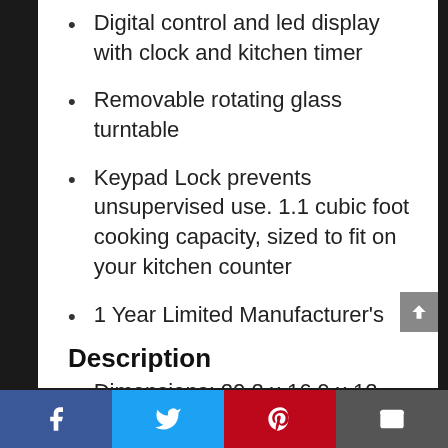Digital control and led display with clock and kitchen timer
Removable rotating glass turntable
Keypad Lock prevents unsupervised use. 1.1 cubic foot cooking capacity, sized to fit on your kitchen counter
1 Year Limited Manufacturer's Warranty
Dimensions: 20.2 x 16.9 x 12 inches
Description